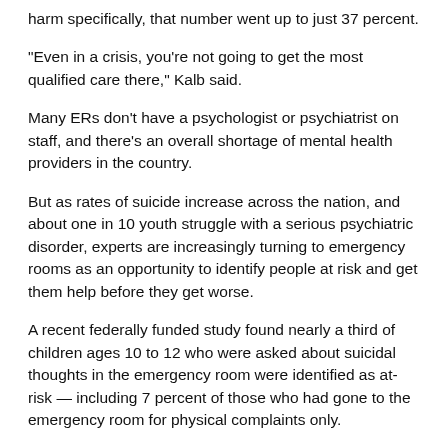harm specifically, that number went up to just 37 percent.
"Even in a crisis, you're not going to get the most qualified care there," Kalb said.
Many ERs don't have a psychologist or psychiatrist on staff, and there's an overall shortage of mental health providers in the country.
But as rates of suicide increase across the nation, and about one in 10 youth struggle with a serious psychiatric disorder, experts are increasingly turning to emergency rooms as an opportunity to identify people at risk and get them help before they get worse.
A recent federally funded study found nearly a third of children ages 10 to 12 who were asked about suicidal thoughts in the emergency room were identified as at-risk — including 7 percent of those who had gone to the emergency room for physical complaints only.
The study authors said their results show how important it is